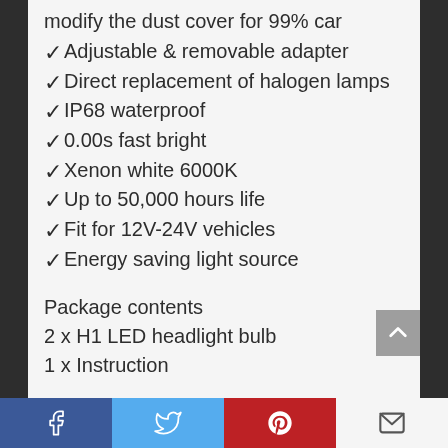modify the dust cover for 99% car
✓Adjustable & removable adapter
✓Direct replacement of halogen lamps
✓IP68 waterproof
✓0.00s fast bright
✓Xenon white 6000K
✓Up to 50,000 hours life
✓Fit for 12V-24V vehicles
✓Energy saving light source
Package contents
2 x H1 LED headlight bulb
1 x Instruction
Facebook | Twitter | Pinterest | Email